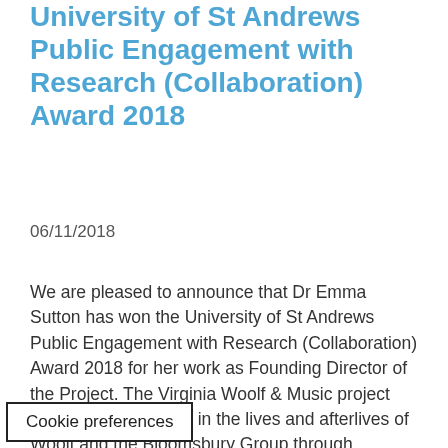University of St Andrews Public Engagement with Research (Collaboration) Award 2018
06/11/2018
We are pleased to announce that Dr Emma Sutton has won the University of St Andrews Public Engagement with Research (Collaboration) Award 2018 for her work as Founding Director of the Project. The Virginia Woolf & Music project explores music's role in the lives and afterlives of Woolf and the Bloomsbury Group through concerts, public ... Read more
Cookie preferences